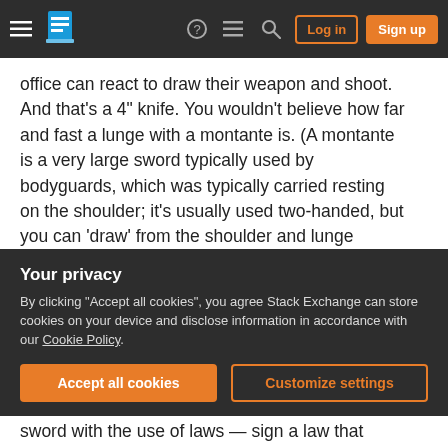Stack Exchange navigation bar with Login and Sign up buttons
office can react to draw their weapon and shoot. And that's a 4" knife. You wouldn't believe how far and fast a lunge with a montante is. (A montante is a very large sword typically used by bodyguards, which was typically carried resting on the shoulder; it's usually used two-handed, but you can 'draw' from the shoulder and lunge single-handed like a rapier, though it's a bit of a gamble as recovery is very difficult.)
So if you've got a scenario where ranges are short
Your privacy
By clicking "Accept all cookies", you agree Stack Exchange can store cookies on your device and disclose information in accordance with our Cookie Policy.
Accept all cookies
Customize settings
sword with the use of laws — sign a law that prevents